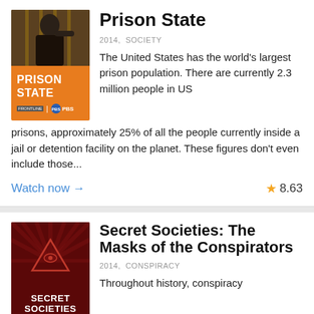[Figure (illustration): Prison State documentary cover — orange background with a photo of a man at prison bars, text PRISON STATE and PBS logo]
Prison State
2014,  SOCIETY
The United States has the world's largest prison population. There are currently 2.3 million people in US prisons, approximately 25% of all the people currently inside a jail or detention facility on the planet. These figures don't even include those...
Watch now →
8.63
[Figure (illustration): Secret Societies: The Masks of the Conspirators documentary cover — dark red background with illuminati eye triangle and rays]
Secret Societies: The Masks of the Conspirators
2014,  CONSPIRACY
Throughout history, conspiracy